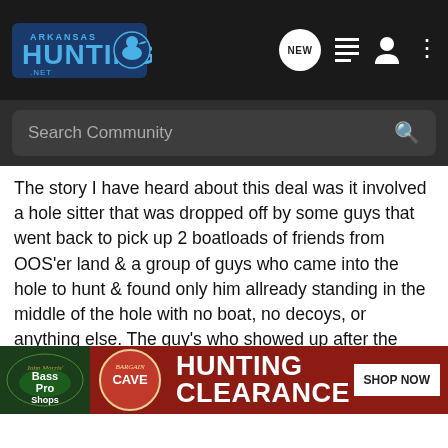[Figure (screenshot): Arkansas Hunting .net logo with duck icon in dark navy header bar]
[Figure (screenshot): Navigation icons: NEW chat bubble, list/hamburger icon, user icon, vertical dots menu]
[Figure (screenshot): Search Community search bar with magnifying glass icon on dark background]
The story I have heard about this deal was it involved a hole sitter that was dropped off by some guys that went back to pick up 2 boatloads of friends from OOS'er land & a group of guys who came into the hole to hunt & found only him allready standing in the middle of the hole with no boat, no decoys, or anything else. The guy's who showed up after the hole sitter was dropped of ask this guy what the story was & from what was told me he just told them he was waiting on his buddies & they were hunting here & for them to leave. The second boat keep quizing the guy about where was his boat, hunting equipment, and other hunting members. The guy in the hole would not give them any kind of a good answer so the second group just decided the hole was still open to hunt & decided to hunt it. W boat loads of y
[Figure (screenshot): Bass Pro Shops Bargain Cave Hunting Clearance advertisement banner with SHOP NOW button]